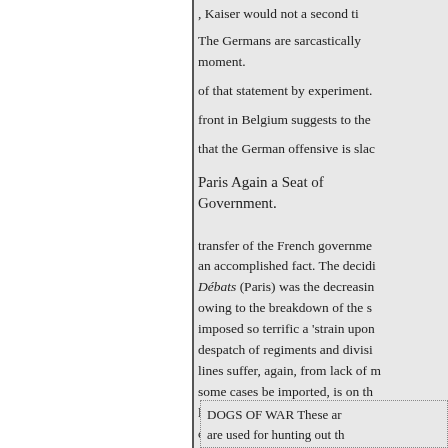, Kaiser would not a second ti
The Germans are sarcastically moment.
of that statement by experiment.
front in Belgium suggests to the
that the German offensive is slac
Paris Again a Seat of Government.
transfer of the French governme an accomplished fact. The decidi Débats (Paris) was the decreasin owing to the breakdown of the s imposed so terrific a 'strain upon despatch of regiments and divisi lines suffer, again, from lack of m some cases be imported, is on th locomotives continue, however u complete is the cooperation of th
DOGS OF WAR These ar are used for hunting out th